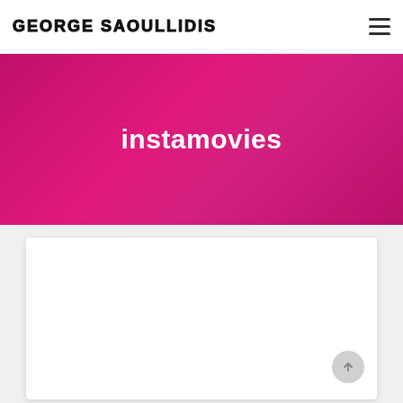GEORGE SAOULLIDIS
instamovies
[Figure (other): White content card placeholder below hero banner]